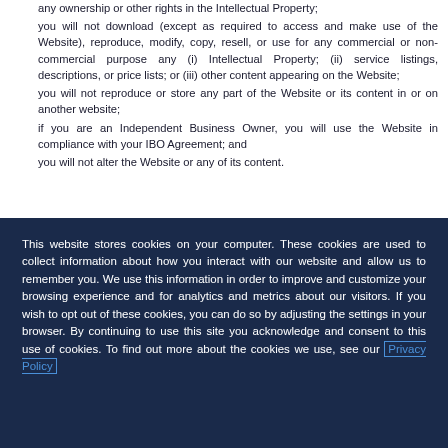you will not download (except as required to access and make use of the Website), reproduce, modify, copy, resell, or use for any commercial or non-commercial purpose any (i) Intellectual Property; (ii) service listings, descriptions, or price lists; or (iii) other content appearing on the Website;
you will not reproduce or store any part of the Website or its content in or on another website;
if you are an Independent Business Owner, you will use the Website in compliance with your IBO Agreement; and
you will not alter the Website or any of its content.
This website stores cookies on your computer. These cookies are used to collect information about how you interact with our website and allow us to remember you. We use this information in order to improve and customize your browsing experience and for analytics and metrics about our visitors. If you wish to opt out of these cookies, you can do so by adjusting the settings in your browser. By continuing to use this site you acknowledge and consent to this use of cookies. To find out more about the cookies we use, see our Privacy Policy